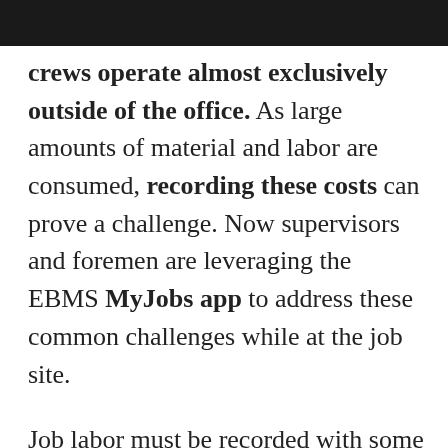crews operate almost exclusively outside of the office. As large amounts of material and labor are consumed, recording these costs can prove a challenge. Now supervisors and foremen are leveraging the EBMS MyJobs app to address these common challenges while at the job site.
Job labor must be recorded with some accuracy in order to create accurate quotes, set budgets, and manage costs. The MyJobs App provides a simple way for the supervisor to efficiently record time for his crew. The